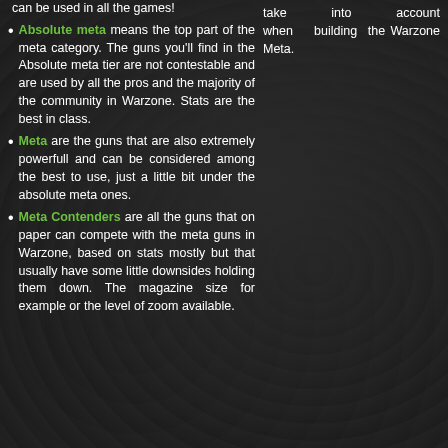can be used in all the games!
Absolute meta means the top part of the meta category. The guns you'll find in the Absolute meta tier are not contestable and are used by all the pros and the majority of the community in Warzone. Stats are the best in class.
Meta are the guns that are also extremely powerfull and can be considered among the best to use, just a little bit under the absolute meta ones.
Meta Contenders are all the guns that on paper can compete with the meta guns in Warzone, based on stats mostly but that usually have some little downsides holding them down. The magazine size for example or the level of zoom available.
take into account when building the Warzone Meta.